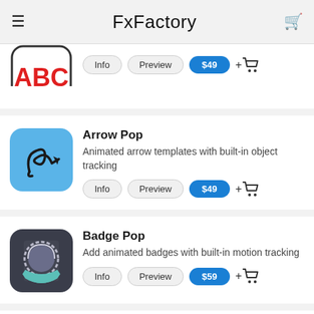FxFactory
[Figure (screenshot): Partially visible ABC app icon with red letters on white background with rounded rectangle border]
Info  Preview  $49  +🛒
[Figure (illustration): Arrow Pop app icon - blue rounded square with hand-drawn curly arrow]
Arrow Pop
Animated arrow templates with built-in object tracking
Info  Preview  $49  +🛒
[Figure (illustration): Badge Pop app icon - dark rounded square with animated badge/ribbon graphic]
Badge Pop
Add animated badges with built-in motion tracking
Info  Preview  $59  +🛒
Black P...